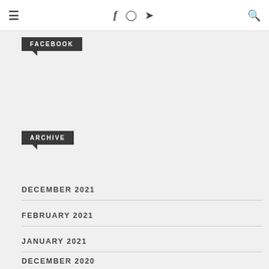≡  f  ⊙  🐦  🔍
FACEBOOK
ARCHIVE
DECEMBER 2021
FEBRUARY 2021
JANUARY 2021
DECEMBER 2020
AUGUST 2020
JUNE 2020